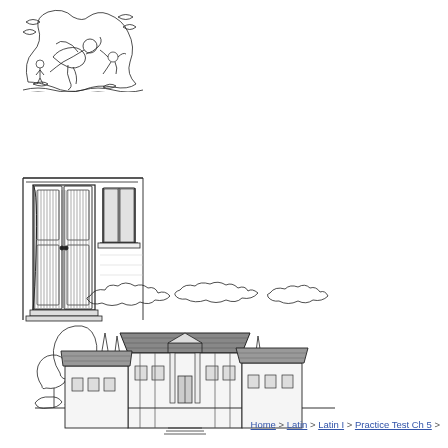[Figure (illustration): Black and white line drawing of mythological or decorative figures, possibly Roman/Greek themed with human and animal forms intertwined]
[Figure (illustration): Black and white line drawing of a Roman-style doorway with open double doors and a window with shutters beside it, architectural sketch]
[Figure (illustration): Black and white line drawing of a Roman building or basilica with columns, a central entrance with pediment, trees on either side, and clouds above]
Home > Latin > Latin I > Practice Test Ch 5 >